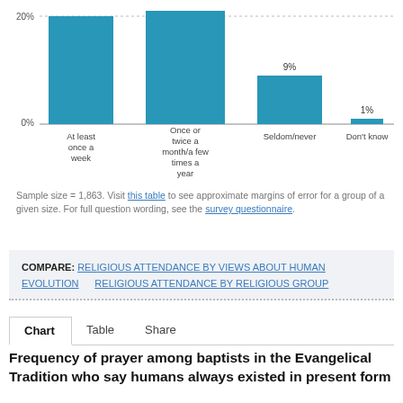[Figure (bar-chart): Frequency of prayer among baptists in the Evangelical Tradition who say humans always existed in present form]
Sample size = 1,863. Visit this table to see approximate margins of error for a group of a given size. For full question wording, see the survey questionnaire.
COMPARE: RELIGIOUS ATTENDANCE BY VIEWS ABOUT HUMAN EVOLUTION   RELIGIOUS ATTENDANCE BY RELIGIOUS GROUP
Frequency of prayer among baptists in the Evangelical Tradition who say humans always existed in present form